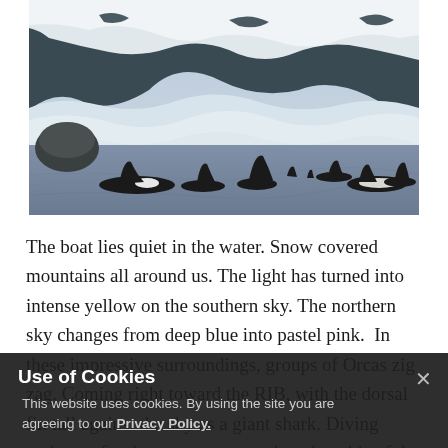[Figure (photo): A pod of orcas swimming in icy arctic waters with their dorsal fins visible above the surface. Snow-covered mountains and rocky cliffs form the background, with churning white water against the rock face.]
The boat lies quiet in the water. Snow covered mountains all around us. The light has turned into intense yellow on the southern sky. The northern sky changes from deep blue into pastel pink. In these impressive surroundings, groups of Orcas zig zag. Coming right toward the RIB, with the dorsal fin tall against the sky as a giant shark. Diving under us, for then to emerge on the other side of the boat.
Use of Cookies
This website uses cookies. By using the site you are agreeing to our Privacy Policy.